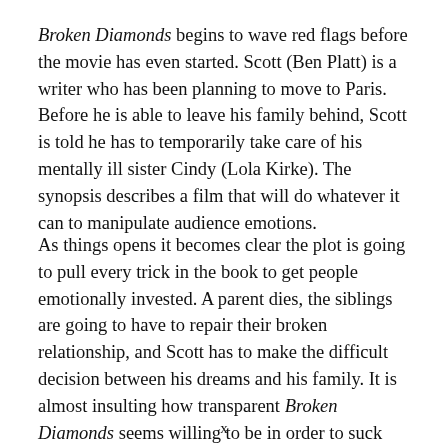Broken Diamonds begins to wave red flags before the movie has even started. Scott (Ben Platt) is a writer who has been planning to move to Paris. Before he is able to leave his family behind, Scott is told he has to temporarily take care of his mentally ill sister Cindy (Lola Kirke). The synopsis describes a film that will do whatever it can to manipulate audience emotions.
As things opens it becomes clear the plot is going to pull every trick in the book to get people emotionally invested. A parent dies, the siblings are going to have to repair their broken relationship, and Scott has to make the difficult decision between his dreams and his family. It is almost insulting how transparent Broken Diamonds seems willing to be in order to suck viewers in.
x